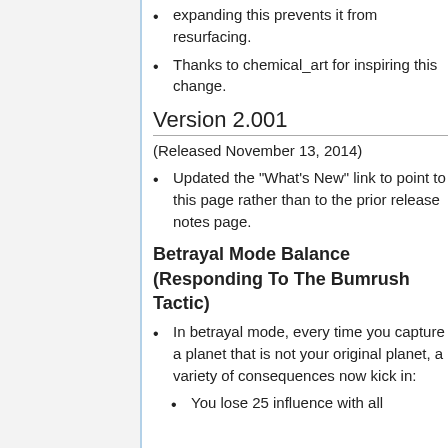expanding this prevents it from resurfacing.
Thanks to chemical_art for inspiring this change.
Version 2.001
(Released November 13, 2014)
Updated the "What's New" link to point to this page rather than to the prior release notes page.
Betrayal Mode Balance (Responding To The Bumrush Tactic)
In betrayal mode, every time you capture a planet that is not your original planet, a variety of consequences now kick in:
You lose 25 influence with all